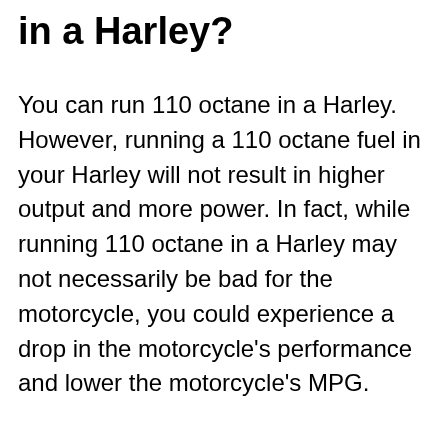in a Harley?
You can run 110 octane in a Harley. However, running a 110 octane fuel in your Harley will not result in higher output and more power. In fact, while running 110 octane in a Harley may not necessarily be bad for the motorcycle, you could experience a drop in the motorcycle's performance and lower the motorcycle's MPG.